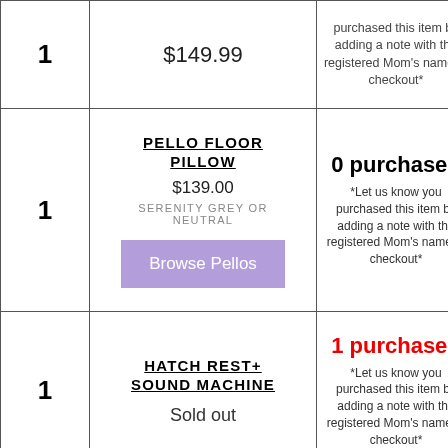| Qty | Item | Status |
| --- | --- | --- |
| 1 | $149.99 | purchased this item by adding a note with the registered Mom's name at checkout* |
| 1 | PELLO FLOOR PILLOW
$139.00
SERENITY GREY OR NEUTRAL
Browse Pellos | 0 purchased
*Let us know you purchased this item by adding a note with the registered Mom's name at checkout* |
| 1 | HATCH REST+ SOUND MACHINE
Sold out | 1 purchased
*Let us know you purchased this item by adding a note with the registered Mom's name at checkout* |
|  | PEHR MOBILE | 1 purchased |